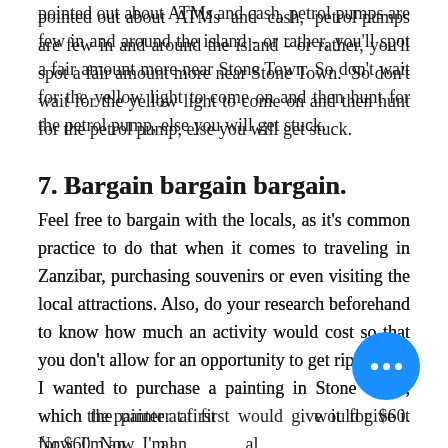pointed out about ATMs and cash, petrol pumps are few in and around the island - or rather, you'll spot a fair amount more near Stone Town. So don't wait for the yellow light to come on and then hunt for the petrol pump, else you will get stuck.
7. Bargain bargain bargain.
Feel free to bargain with the locals, as it's common practice to do that when it comes to traveling in Zanzibar, purchasing souvenirs or even visiting the local attractions. Also, do your research beforehand to know how much an activity would cost so that you don't allow for an opportunity to get ripped off. I wanted to purchase a painting in Stone Town, which the painter at first would give it for $60. Now, I'm an avid bargain hunter, first found for A...